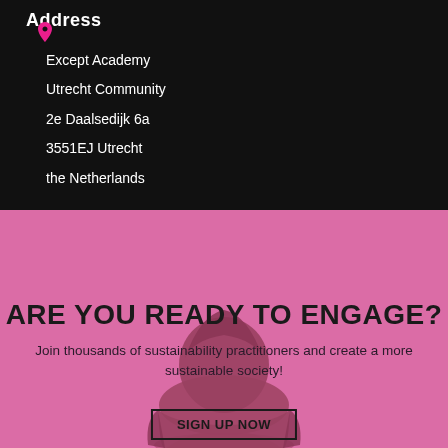Address
Except Academy
Utrecht Community
2e Daalsedijk 6a
3551EJ Utrecht
the Netherlands
[Figure (photo): Pink/magenta tinted background with a person (seen from behind, wearing a hoodie) in the center. Overlaid with text about engaging with sustainability practitioners.]
ARE YOU READY TO ENGAGE?
Join thousands of sustainability practitioners and create a more sustainable society!